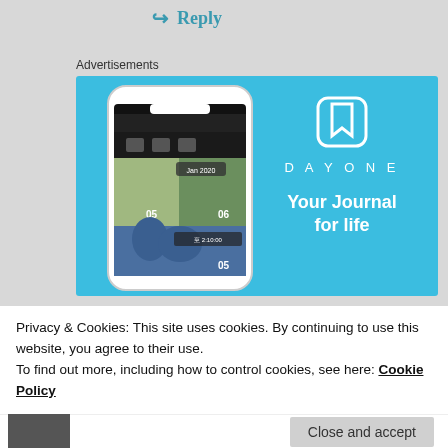↵ Reply
Advertisements
[Figure (illustration): DayOne app advertisement showing a smartphone with the DayOne journal app interface, photos of nature and beach scenes, alongside the DayOne logo (book icon) and text 'DAYONE' and 'Your Journal for life' on a light blue background.]
Privacy & Cookies: This site uses cookies. By continuing to use this website, you agree to their use.
To find out more, including how to control cookies, see here: Cookie Policy
Close and accept